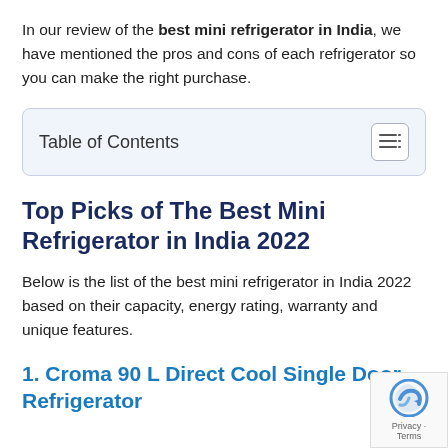In our review of the best mini refrigerator in India, we have mentioned the pros and cons of each refrigerator so you can make the right purchase.
Table of Contents
Top Picks of The Best Mini Refrigerator in India 2022
Below is the list of the best mini refrigerator in India 2022 based on their capacity, energy rating, warranty and unique features.
1. Croma 90 L Direct Cool Single Door Refrigerator